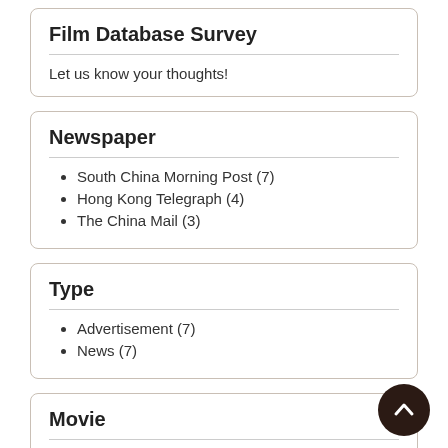Film Database Survey
Let us know your thoughts!
Newspaper
South China Morning Post (7)
Hong Kong Telegraph (4)
The China Mail (3)
Type
Advertisement (7)
News (7)
Movie
(-) Show all (7823)
Comic films (806)
British Gazette (453)
Pathe Gazette (346)